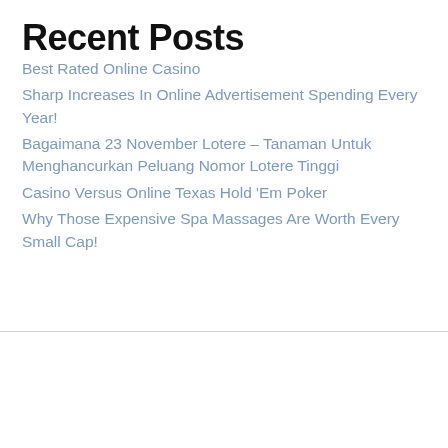Recent Posts
Best Rated Online Casino
Sharp Increases In Online Advertisement Spending Every Year!
Bagaimana 23 November Lotere – Tanaman Untuk Menghancurkan Peluang Nomor Lotere Tinggi
Casino Versus Online Texas Hold 'Em Poker
Why Those Expensive Spa Massages Are Worth Every Small Cap!